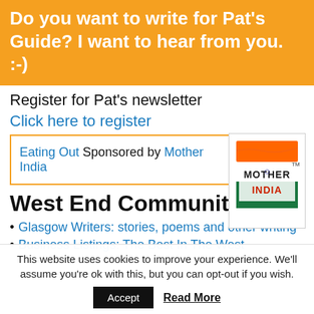Do you want to write for Pat's Guide? I want to hear from you. :-)
Register for Pat's newsletter
Click here to register
Eating Out Sponsored by Mother India
[Figure (logo): Mother India restaurant logo with flag design]
West End Community
Glasgow Writers: stories, poems and other writing
Business Listings: The Best In The West
This website uses cookies to improve your experience. We'll assume you're ok with this, but you can opt-out if you wish.
Accept   Read More